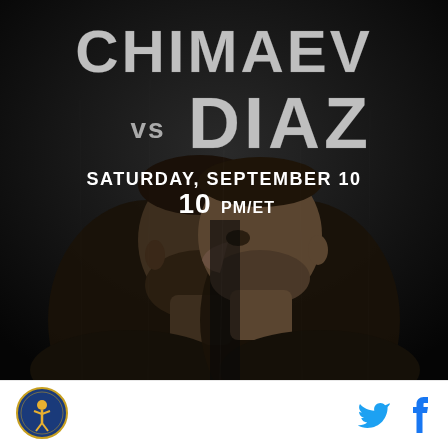[Figure (photo): UFC promotional poster for Chimaev vs Diaz fight. Dark background with two fighters facing each other in profile — Khamzat Chimaev on the left with a beard, Nate Diaz on the right with a buzz cut. Text overlay shows CHIMAEV vs DIAZ, SATURDAY, SEPTEMBER 10, 10PM/ET.]
[Figure (logo): Round logo with a martial arts figure and text around the border, blue and orange colors.]
[Figure (other): Twitter bird icon in blue and Facebook 'f' icon in blue, social media share buttons.]